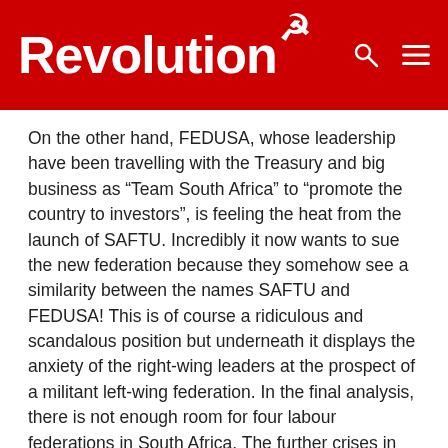Revolution
On the other hand, FEDUSA, whose leadership have been travelling with the Treasury and big business as “Team South Africa” to “promote the country to investors”, is feeling the heat from the launch of SAFTU. Incredibly it now wants to sue the new federation because they somehow see a similarity between the names SAFTU and FEDUSA! This is of course a ridiculous and scandalous position but underneath it displays the anxiety of the right-wing leaders at the prospect of a militant left-wing federation. In the final analysis, there is not enough room for four labour federations in South Africa. The further crises in COSATU and FEDUSA and the rise of SAFTU could therefore lead to a radical realignment of the labour movement.
In many ways, the current situation in the trade union movement is reminiscent to situation in the early 1980s. At